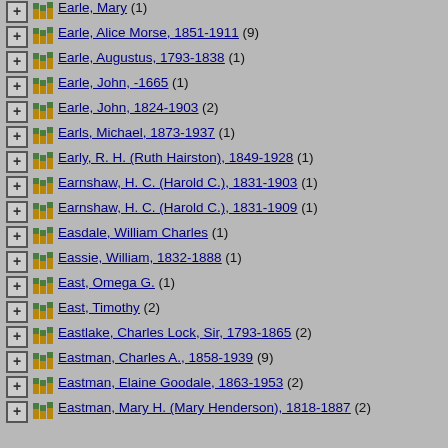Earle, Mary (1)
Earle, Alice Morse, 1851-1911 (9)
Earle, Augustus, 1793-1838 (1)
Earle, John, -1665 (1)
Earle, John, 1824-1903 (2)
Earls, Michael, 1873-1937 (1)
Early, R. H. (Ruth Hairston), 1849-1928 (1)
Earnshaw, H. C. (Harold C.), 1831-1903 (1)
Earnshaw, H. C. (Harold C.), 1831-1909 (1)
Easdale, William Charles (1)
Eassie, William, 1832-1888 (1)
East, Omega G. (1)
East, Timothy (2)
Eastlake, Charles Lock, Sir, 1793-1865 (2)
Eastman, Charles A., 1858-1939 (9)
Eastman, Elaine Goodale, 1863-1953 (2)
Eastman, Mary H. (Mary Henderson), 1818-1887 (2)